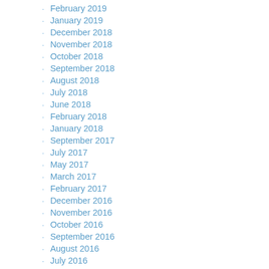February 2019
January 2019
December 2018
November 2018
October 2018
September 2018
August 2018
July 2018
June 2018
February 2018
January 2018
September 2017
July 2017
May 2017
March 2017
February 2017
December 2016
November 2016
October 2016
September 2016
August 2016
July 2016